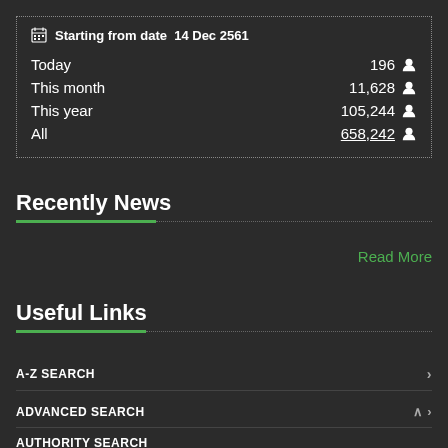|  |  |
| --- | --- |
| Starting from date  14 Dec 2561 |  |
| Today | 196 👤 |
| This month | 11,628 👤 |
| This year | 105,244 👤 |
| All | 658,242 👤 |
Recently News
Read More
Useful Links
A-Z SEARCH
ADVANCED SEARCH
AUTHORITY SEARCH